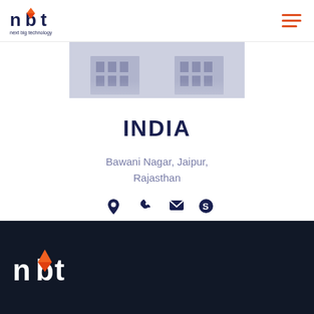[Figure (logo): Next Big Technology (nbt) logo with orange accent and dark blue text, 'next big technology' tagline below]
[Figure (illustration): Building/Hawa Mahal style illustration in blue-grey tones]
INDIA
Bawani Nagar, Jaipur, Rajasthan
[Figure (infographic): Row of four dark navy icons: location pin, phone handset, envelope/email, Skype logo]
[Figure (logo): Next Big Technology (nbt) logo on dark navy background footer]